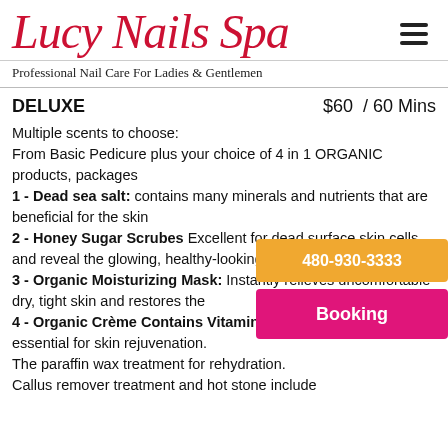[Figure (logo): Lucy Nails Spa logo in red cursive script]
Professional Nail Care For Ladies & Gentlemen
DELUXE   $60 / 60 Mins
Multiple scents to choose:
From Basic Pedicure plus your choice of 4 in 1 ORGANIC products, packages
1 - Dead sea salt: contains many minerals and nutrients that are beneficial for the skin
2 - Honey Sugar Scrubes Excellent for dead surface skin cells and reveal the glowing, healthy-looking skin un...
3 - Organic Moisturizing Mask: Instantly relieves uncomfortable dry, tight skin and restores the moisture.
4 - Organic Crème Contains Vitamins and nutrients that are essential for skin rejuvenation.
The paraffin wax treatment for rehydration.
Callus remover treatment and hot stone include